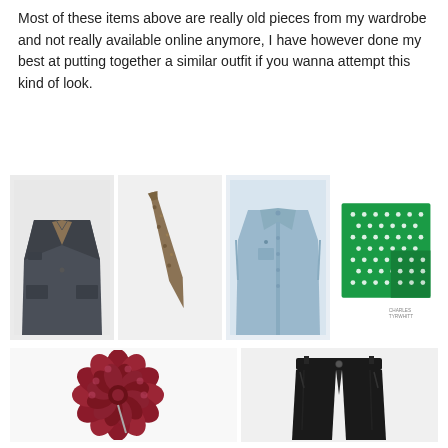Most of these items above are really old pieces from my wardrobe and not really available online anymore, I have however done my best at putting together a similar outfit if you wanna attempt this kind of look.
[Figure (photo): Four clothing/accessory items in a row: a dark grey blazer jacket, a floral patterned tie, a light blue button-down shirt, and a green polka dot pocket square.]
[Figure (photo): Two items: a dark magenta/crimson floral lapel pin/brooch on the left, and black slim trousers/pants on the right.]